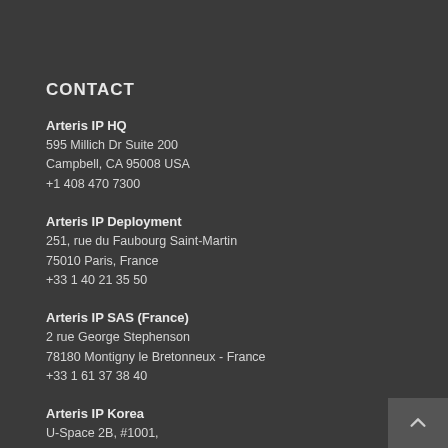CONTACT
Arteris IP HQ
595 Millich Dr Suite 200
Campbell, CA 95008 USA
+1 408 470 7300
Arteris IP Deployment
251, rue du Faubourg Saint-Martin
75010 Paris, France
+33 1 40 21 35 50
Arteris IP SAS (France)
2 rue George Stephenson
78180 Montigny le Bretonneux - France
+33 1 61 37 38 40
Arteris IP Korea
U-Space 2B, #1001,
670, Daewangpangyo-ro Bundang-gu,
Seongnam-si, Gyeonggi-do,